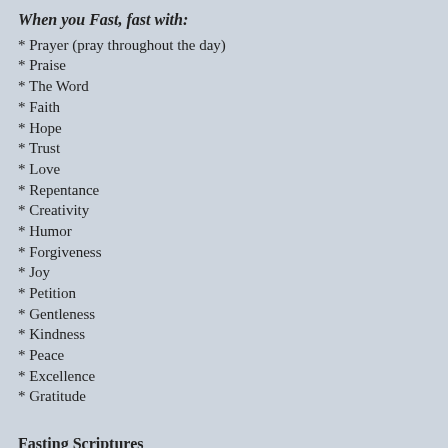When you Fast, fast with:
* Prayer (pray throughout the day)
* Praise
* The Word
* Faith
* Hope
* Trust
* Love
* Repentance
* Creativity
* Humor
* Forgiveness
* Joy
* Petition
* Gentleness
* Kindness
* Peace
* Excellence
* Gratitude
Fasting Scriptures
In time of Sorrow- 1 Samuel 31:13
"Then they took their bones and buried them under a tamarisk tree at Jab seven days."